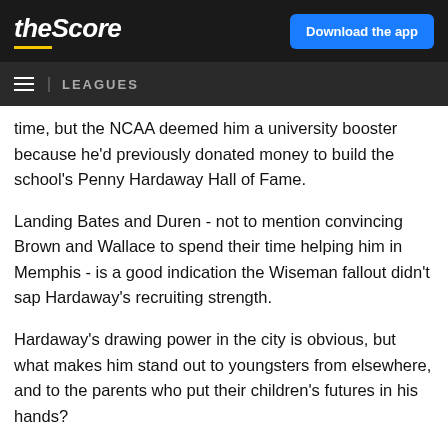theScore | Download the app
LEAGUES
time, but the NCAA deemed him a university booster because he'd previously donated money to build the school's Penny Hardaway Hall of Fame.
Landing Bates and Duren - not to mention convincing Brown and Wallace to spend their time helping him in Memphis - is a good indication the Wiseman fallout didn't sap Hardaway's recruiting strength.
Hardaway's drawing power in the city is obvious, but what makes him stand out to youngsters from elsewhere, and to the parents who put their children's futures in his hands?
"The way he talks to people," says Toronto Raptors center Precious Achiuwa, who played for Hardaway at